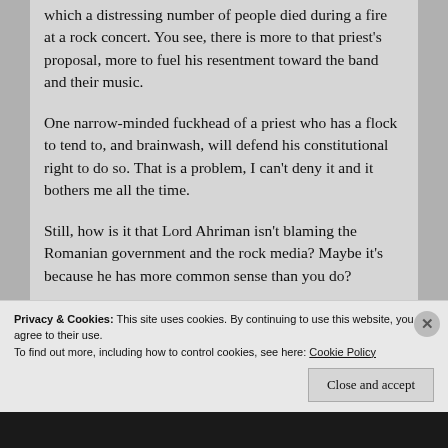which a distressing number of people died during a fire at a rock concert. You see, there is more to that priest's proposal, more to fuel his resentment toward the band and their music.
One narrow-minded fuckhead of a priest who has a flock to tend to, and brainwash, will defend his constitutional right to do so. That is a problem, I can't deny it and it bothers me all the time.
Still, how is it that Lord Ahriman isn't blaming the Romanian government and the rock media? Maybe it's because he has more common sense than you do?
What's most infuriating about that grand finally in your article is that you unintentionally assume that the people and government will just go with that
Privacy & Cookies: This site uses cookies. By continuing to use this website, you agree to their use.
To find out more, including how to control cookies, see here: Cookie Policy
Close and accept